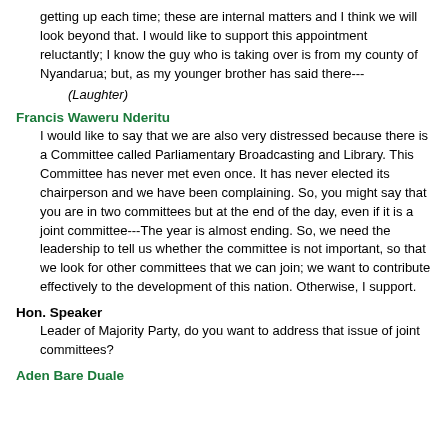getting up each time; these are internal matters and I think we will look beyond that. I would like to support this appointment reluctantly; I know the guy who is taking over is from my county of Nyandarua; but, as my younger brother has said there---
(Laughter)
Francis Waweru Nderitu
I would like to say that we are also very distressed because there is a Committee called Parliamentary Broadcasting and Library. This Committee has never met even once. It has never elected its chairperson and we have been complaining. So, you might say that you are in two committees but at the end of the day, even if it is a joint committee---The year is almost ending. So, we need the leadership to tell us whether the committee is not important, so that we look for other committees that we can join; we want to contribute effectively to the development of this nation. Otherwise, I support.
Hon. Speaker
Leader of Majority Party, do you want to address that issue of joint committees?
Aden Bare Duale